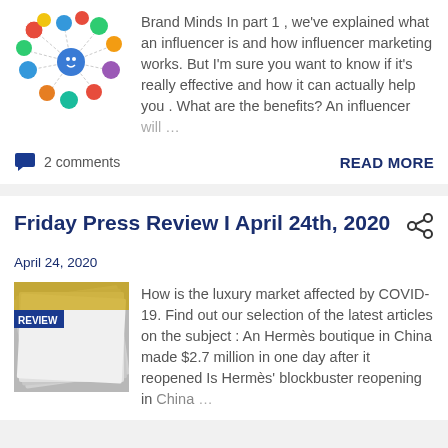[Figure (illustration): Network/social media influencer graphic with circular avatar icons connected by dotted lines on white background]
Brand Minds In part 1 , we've explained what an influencer is and how influencer marketing works. But I'm sure you want to know if it's really effective and how it can actually help you . What are the benefits? An influencer will …
2 comments
READ MORE
Friday Press Review I April 24th, 2020
April 24, 2020
[Figure (photo): Photo of stacked magazines/newspapers fanned out, with 'REVIEW' text visible on blue label]
How is the luxury market affected by COVID-19. Find out our selection of the latest articles on the subject : An Hermès boutique in China made $2.7 million in one day after it reopened Is Hermès' blockbuster reopening in China …